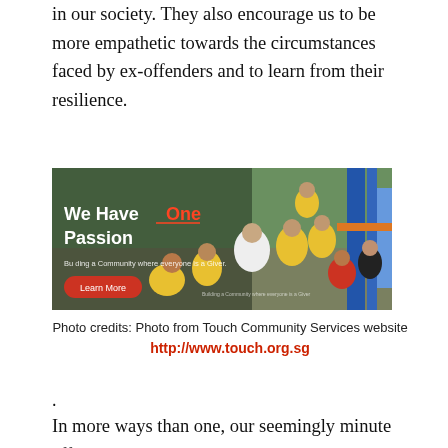in our society. They also encourage us to be more empathetic towards the circumstances faced by ex-offenders and to learn from their resilience.
[Figure (photo): Screenshot of Touch Community Services website showing 'We Have One Passion' with a photo of adults and children in yellow shirts at a playground, and a 'Learn More' button]
Photo credits: Photo from Touch Community Services website
http://www.touch.org.sg
.
In more ways than one, our seemingly minute efforts